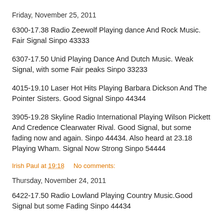Friday, November 25, 2011
6300-17.38 Radio Zeewolf Playing dance And Rock Music. Fair Signal Sinpo 43333
6307-17.50 Unid Playing Dance And Dutch Music. Weak Signal, with some Fair peaks Sinpo 33233
4015-19.10 Laser Hot Hits Playing Barbara Dickson And The Pointer Sisters. Good Signal Sinpo 44344
3905-19.28 Skyline Radio International Playing Wilson Pickett And Credence Clearwater Rival. Good Signal, but some fading now and again. Sinpo 44434. Also heard at 23.18 Playing Wham. Signal Now Strong Sinpo 54444
Irish Paul at 19:18    No comments:
Thursday, November 24, 2011
6422-17.50 Radio Lowland Playing Country Music.Good Signal but some Fading Sinpo 44434